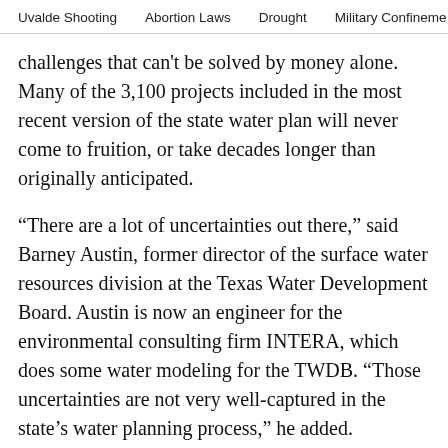Uvalde Shooting   Abortion Laws   Drought   Military Confinement
challenges that can't be solved by money alone. Many of the 3,100 projects included in the most recent version of the state water plan will never come to fruition, or take decades longer than originally anticipated.
“There are a lot of uncertainties out there,” said Barney Austin, former director of the surface water resources division at the Texas Water Development Board. Austin is now an engineer for the environmental consulting firm INTERA, which does some water modeling for the TWDB. “Those uncertainties are not very well-captured in the state’s water planning process,” he added.
The Marvin Nichols Reservoir is one of the biggest wild cards in the state water plan. North Texas considers the proposed $3.4 billion East Texas lake to be one of its major water supply strategies going forward. But